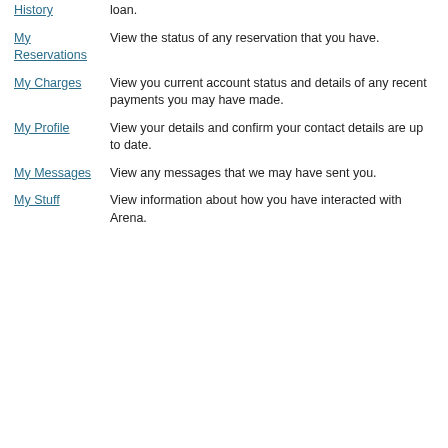My Loan History | loan.
My Reservations | View the status of any reservation that you have.
My Charges | View you current account status and details of any recent payments you may have made.
My Profile | View your details and confirm your contact details are up to date.
My Messages | View any messages that we may have sent you.
My Stuff | View information about how you have interacted with Arena.